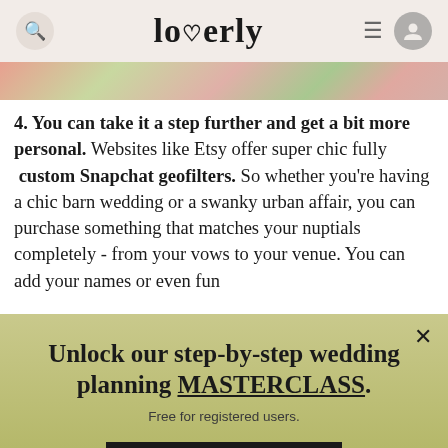loverly
[Figure (photo): Floral image strip showing pink and green flowers/foliage]
4. You can take it a step further and get a bit more personal. Websites like Etsy offer super chic fully custom Snapchat geofilters. So whether you're having a chic barn wedding or a swanky urban affair, you can purchase something that matches your nuptials completely - from your vows to your venue. You can add your names or even fun ...
Unlock our step-by-step wedding planning MASTERCLASS.
Free for registered users.
SEE COURSES